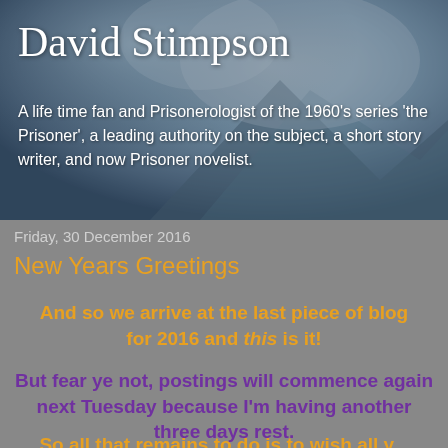[Figure (photo): Header background photo showing a stormy or icy mountain/rock scene with blue-grey tones]
David Stimpson
A life time fan and Prisonerologist of the 1960's series 'the Prisoner', a leading authority on the subject, a short story writer, and now Prisoner novelist.
Friday, 30 December 2016
New Years Greetings
And so we arrive at the last piece of blog for 2016 and this is it!
But fear ye not, postings will commence again next Tuesday because I'm having another three days rest.
So all that remains to do is to wish all y...